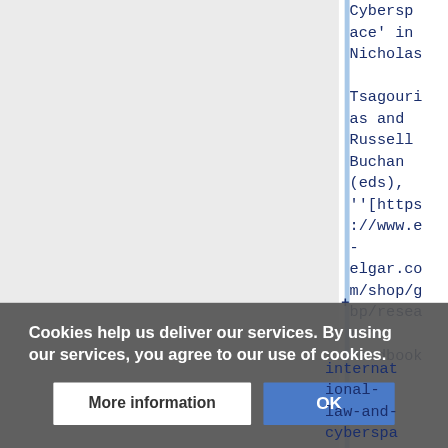Cyberspace' in Nicholas Tsagourias and Russell Buchan (eds), ''[https://www.e-elgar.com/shop/gbp/research-handbook-international-law-and-cyberspa
Cookies help us deliver our services. By using our services, you agree to our use of cookies.
More information
OK